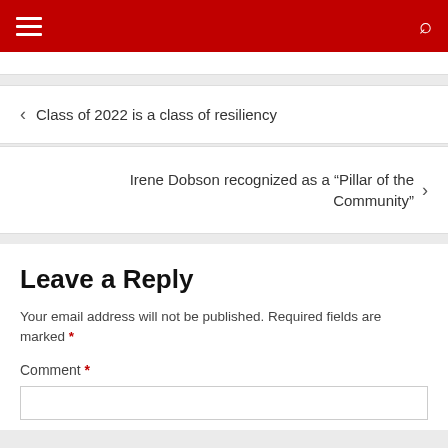Navigation menu and search
Class of 2022 is a class of resiliency
Irene Dobson recognized as a “Pillar of the Community”
Leave a Reply
Your email address will not be published. Required fields are marked *
Comment *